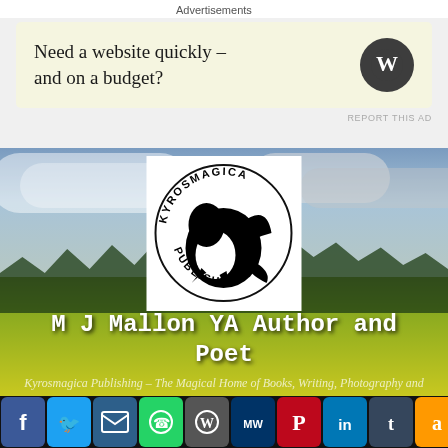Advertisements
[Figure (screenshot): WordPress advertisement banner: 'Need a website quickly – and on a budget?' with WordPress logo circle on right, on a beige background]
REPORT THIS AD
[Figure (logo): Kyrosmagica Publishing logo: circular dragon illustration with text 'KYROSMAGICA' at top and 'PUBLISHING' at bottom, black on white background]
M J Mallon YA Author and Poet
Kyrosmagica Publishing – The Magical Home of Books, Writing, Photography and Inspiration
[Figure (infographic): Social media share bar with icons: Facebook (blue), Twitter (light blue), Email (dark blue), WhatsApp (green), WordPress (grey), MeWe (dark teal), Pinterest (red), LinkedIn (blue), Tumblr (dark blue), Amazon (orange), Plus/More (blue)]